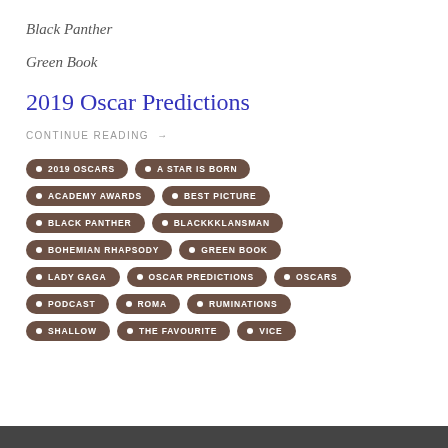Black Panther
Green Book
2019 Oscar Predictions
CONTINUE READING →
• 2019 OSCARS
• A STAR IS BORN
• ACADEMY AWARDS
• BEST PICTURE
• BLACK PANTHER
• BLACKKKLANSMAN
• BOHEMIAN RHAPSODY
• GREEN BOOK
• LADY GAGA
• OSCAR PREDICTIONS
• OSCARS
• PODCAST
• ROMA
• RUMINATIONS
• SHALLOW
• THE FAVOURITE
• VICE